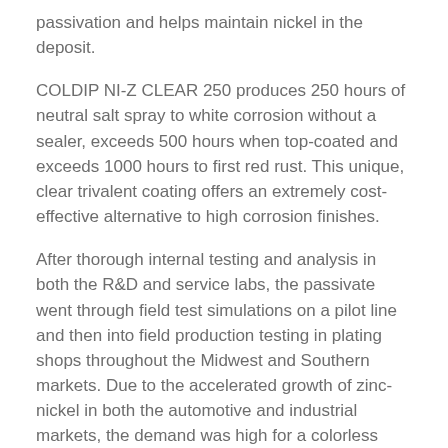passivation and helps maintain nickel in the deposit.
COLDIP NI-Z CLEAR 250 produces 250 hours of neutral salt spray to white corrosion without a sealer, exceeds 500 hours when top-coated and exceeds 1000 hours to first red rust. This unique, clear trivalent coating offers an extremely cost-effective alternative to high corrosion finishes.
After thorough internal testing and analysis in both the R&D and service labs, the passivate went through field test simulations on a pilot line and then into field production testing in plating shops throughout the Midwest and Southern markets. Due to the accelerated growth of zinc-nickel in both the automotive and industrial markets, the demand was high for a colorless zinc-nickel passivate that delivers strong salt spray results. With a focus on meeting the needs of customers, this passivate was developed to address those specific demands and not engineered